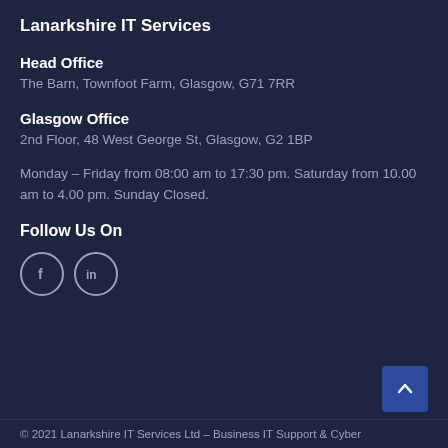Lanarkshire IT Services
Head Office
The Barn, Townfoot Farm, Glasgow, G71 7RR
Glasgow Office
2nd Floor, 48 West George St, Glasgow, G2 1BP
Monday – Friday from 08:00 am to 17:30 pm. Saturday from 10.00 am to 4.00 pm. Sunday Closed.
Follow Us On
[Figure (illustration): Facebook and LinkedIn social media icon circles]
© 2021 Lanarkshire IT Services Ltd – Business IT Support & Cyber